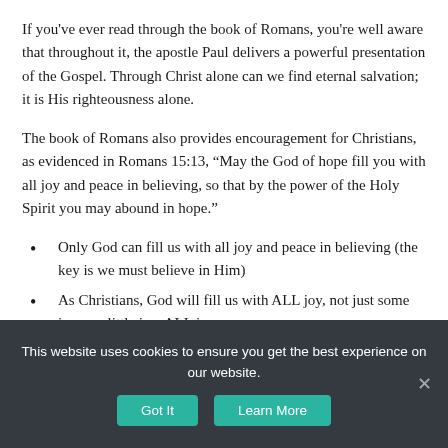If you've ever read through the book of Romans, you're well aware that throughout it, the apostle Paul delivers a powerful presentation of the Gospel. Through Christ alone can we find eternal salvation; it is His righteousness alone.
The book of Romans also provides encouragement for Christians, as evidenced in Romans 15:13, “May the God of hope fill you with all joy and peace in believing, so that by the power of the Holy Spirit you may abound in hope.”
Only God can fill us with all joy and peace in believing (the key is we must believe in Him)
As Christians, God will fill us with ALL joy, not just some joy or a little joy, ALL joy
This website uses cookies to ensure you get the best experience on our website.